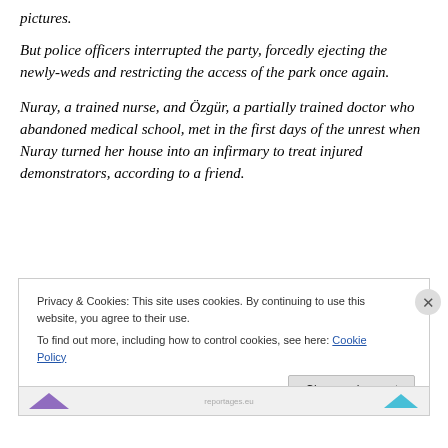pictures.
But police officers interrupted the party, forcedly ejecting the newly-weds and restricting the access of the park once again.
Nuray, a trained nurse, and Özgür, a partially trained doctor who abandoned medical school, met in the first days of the unrest when Nuray turned her house into an infirmary to treat injured demonstrators, according to a friend.
Privacy & Cookies: This site uses cookies. By continuing to use this website, you agree to their use.
To find out more, including how to control cookies, see here: Cookie Policy